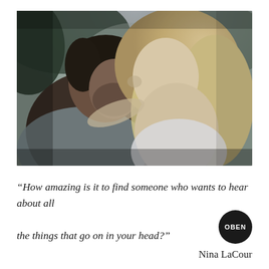[Figure (photo): A couple in an intimate close-up moment, foreheads touching and eyes closed/smiling. The man has dark short hair and a beard; the woman has long blonde hair and wears an off-shoulder light top. Soft bokeh outdoor background with dark greens and grey tones.]
“How amazing is it to find someone who wants to hear about all the things that go on in your head?”
[Figure (logo): Black circle with white text OBEN]
Nina LaCour